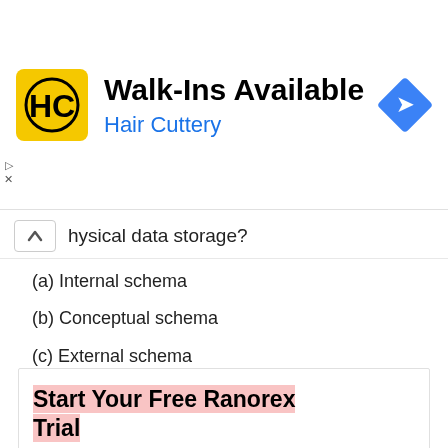[Figure (logo): Hair Cuttery ad banner with HC logo, Walk-Ins Available text, and navigation icon]
physical data storage?
(a) Internal schema
(b) Conceptual schema
(c) External schema
(d) None of these
[Figure (advertisement): Ranorex Studio ad: Start Your Free Ranorex Trial. Claim Your Free Full Feauture Trial of Ranorex Studio Today.]